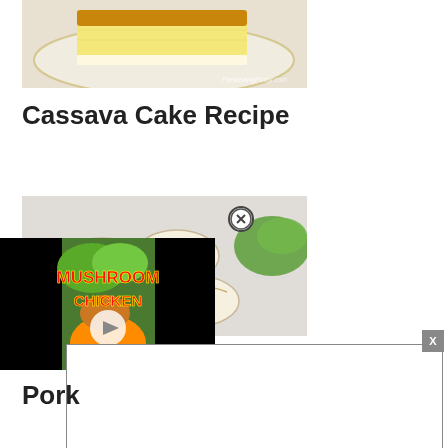[Figure (photo): Photo of cassava cake slice on a plate with golden/yellow topping, partially cropped at top. Watermark text visible at bottom right.]
Cassava Cake Recipe
[Figure (photo): Photo of dumplings/siomai arranged on a plate with garnish, partially obscured by video overlay. A close (X) button visible in the middle of the image.]
[Figure (screenshot): Video player overlay showing 'MUSHROOM CHICKEN' recipe video thumbnail with play button, black sidebars on left and right.]
[Figure (other): Advertisement box with close X button in top right corner.]
Pork